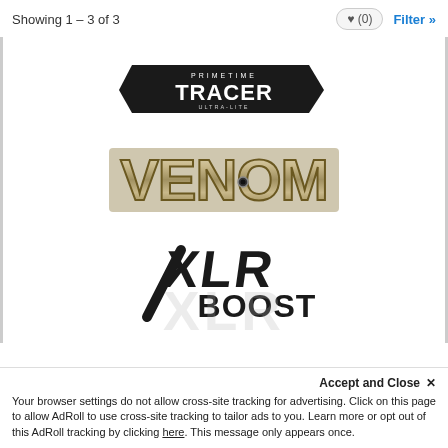Showing 1 – 3 of 3
[Figure (logo): Primetime Tracer Ultra-Lite logo — black angular badge with white text]
[Figure (logo): Venom logo — chrome/metallic stylized lettering]
[Figure (logo): XLR Boost logo — bold black angular lettering]
Accept and Close ×
Your browser settings do not allow cross-site tracking for advertising. Click on this page to allow AdRoll to use cross-site tracking to tailor ads to you. Learn more or opt out of this AdRoll tracking by clicking here. This message only appears once.